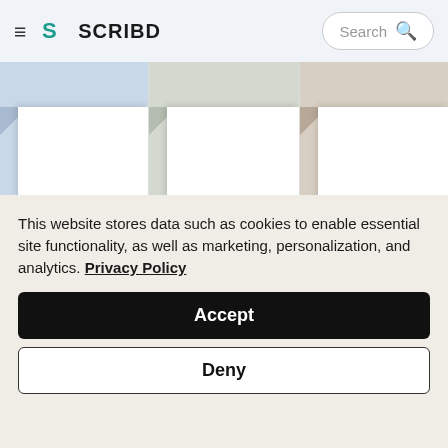Scribd — Search
[Figure (screenshot): Scribd website header with hamburger menu, Scribd logo, and search bar]
[Figure (screenshot): Three document thumbnail cards labeled 'Document' with partially visible titles, with a next arrow button]
This website stores data such as cookies to enable essential site functionality, as well as marketing, personalization, and analytics. Privacy Policy
Accept
Deny